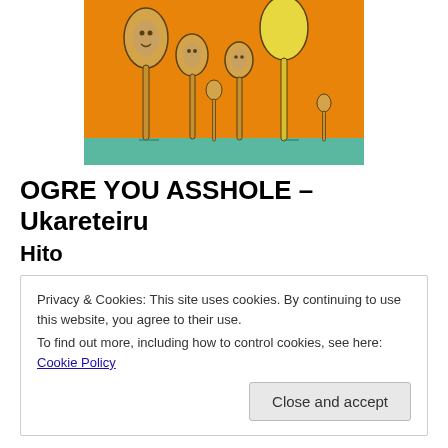[Figure (illustration): Artwork showing several large spoon-like figures with human faces on an orange background with a teal/green base, painted in a surrealist style.]
OGRE YOU ASSHOLE – Ukareteiru
Hito
Privacy & Cookies: This site uses cookies. By continuing to use this website, you agree to their use.
To find out more, including how to control cookies, see here: Cookie Policy
[Close and accept]
American label will release some of their material in the